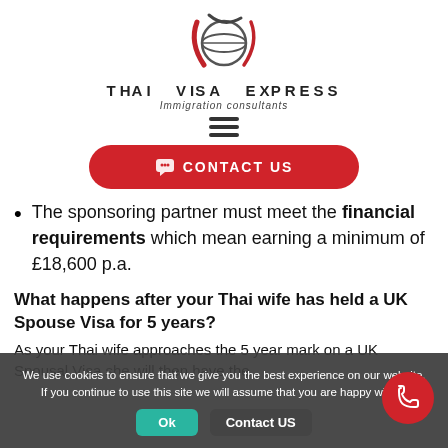[Figure (logo): Thai Visa Express logo with globe and swoosh graphic, brand name and tagline 'Immigration consultants']
[Figure (other): Hamburger menu icon (three horizontal lines)]
[Figure (other): Red CONTACT US button with chat bubble icon]
The sponsoring partner must meet the financial requirements which mean earning a minimum of £18,600 p.a.
What happens after your Thai wife has held a UK Spouse Visa for 5 years?
As your Thai wife approaches the 5 year mark on a UK Spousal Visa she will then have the
We use cookies to ensure that we give you the best experience on our website. If you continue to use this site we will assume that you are happy with it.
[Figure (other): Ok button (teal) and Contact US button (dark) inside cookie consent bar]
[Figure (other): Red circular phone FAB button]